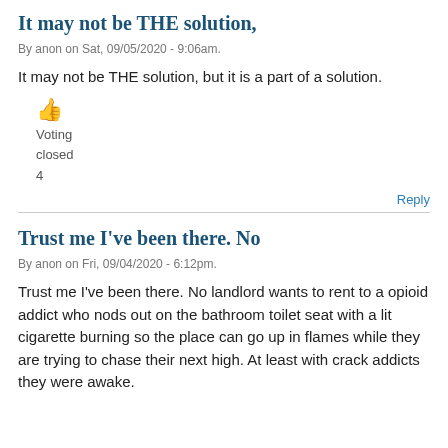It may not be THE solution,
By anon on Sat, 09/05/2020 - 9:06am.
It may not be THE solution, but it is a part of a solution.
👍
Voting
closed
4
Reply
Trust me I've been there. No
By anon on Fri, 09/04/2020 - 6:12pm.
Trust me I've been there. No landlord wants to rent to a opioid addict who nods out on the bathroom toilet seat with a lit cigarette burning so the place can go up in flames while they are trying to chase their next high. At least with crack addicts they were awake.